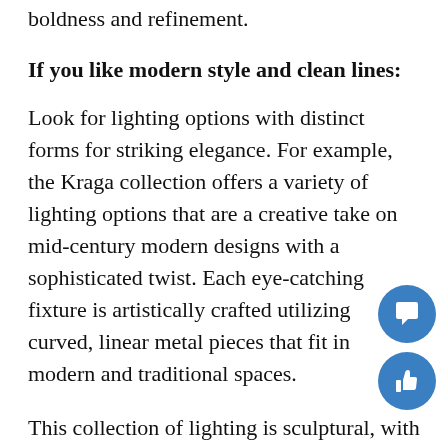boldness and refinement.
If you like modern style and clean lines:
Look for lighting options with distinct forms for striking elegance. For example, the Kraga collection offers a variety of lighting options that are a creative take on mid-century modern designs with a sophisticated twist. Each eye-catching fixture is artistically crafted utilizing curved, linear metal pieces that fit in modern and traditional spaces.
This collection of lighting is sculptural, with an elegance that is bold, yet understated. Devoid of unnecessary decorative elements, these lights rely instead on the purity of pared down form and hand selected materials. Crafted from smooth, cast metal frames fitted with glowing, cast-glass, creamy white globes, each Kraga lighting design is